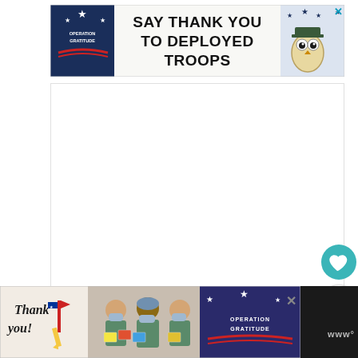[Figure (infographic): Operation Gratitude banner ad — logo on left with star and swoosh, center text SAY THANK YOU TO DEPLOYED TROOPS, owl cartoon on right, close X button top right]
[Figure (other): White blank main content area in the center of the page]
[Figure (other): Teal circular heart/favorite button floating on right side]
11
[Figure (other): White circular share button with share icon floating on right side]
[Figure (infographic): Bottom Operation Gratitude ad — thank you handwritten text with pencil/flag on left, photo of healthcare workers holding cards in middle, Operation Gratitude logo on dark blue right section, close X button]